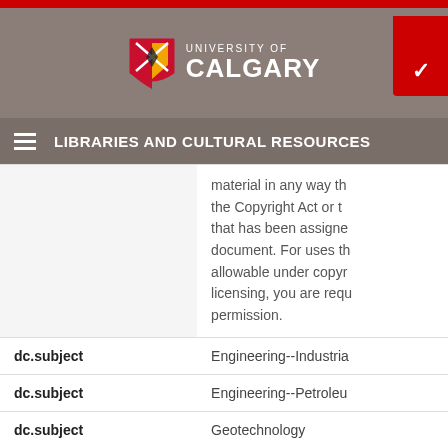University of Calgary – Libraries and Cultural Resources
material in any way that the Copyright Act or that has been assigned document. For uses that allowable under copyright licensing, you are required permission.
| Field | Value |
| --- | --- |
| dc.subject | Engineering--Industrial |
| dc.subject | Engineering--Petroleum |
| dc.subject | Geotechnology |
| dc.subject.classification | Inertial Navigation |
| dc.subject.classification | Pipeline |